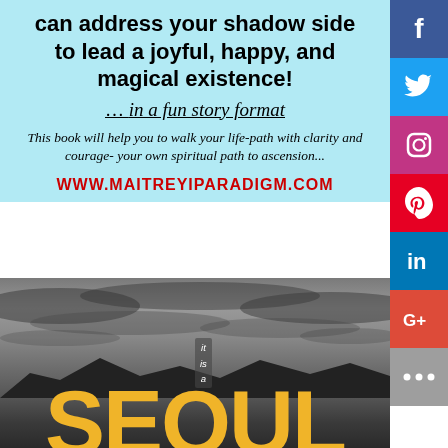can address your shadow side to lead a joyful, happy, and magical existence!
… in a fun story format
This book will help you to walk your life-path with clarity and courage- your own spiritual path to ascension...
www.MaitreyiParadigm.com
[Figure (photo): Black and white cityscape/landscape photo with dramatic cloudy sky and mountains/hills silhouetted in foreground. Large yellow text 'SEOUL' overlaid at bottom. Small text 'it is a' in white on dark background overlaid in the center-bottom area.]